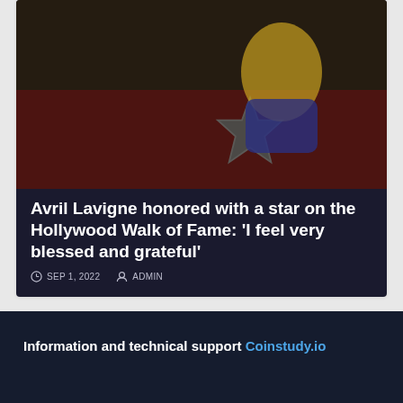[Figure (photo): Article card with dark background showing a photo of Avril Lavigne honoring her Hollywood Walk of Fame star, overlaid with white bold headline text and metadata]
Avril Lavigne honored with a star on the Hollywood Walk of Fame: 'I feel very blessed and grateful'
SEP 1, 2022   ADMIN
Information and technical support Coinstudy.io